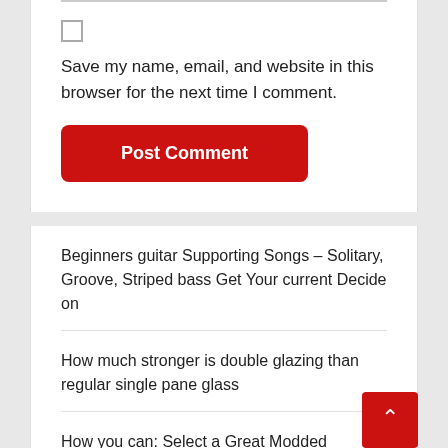Save my name, email, and website in this browser for the next time I comment.
Post Comment
Beginners guitar Supporting Songs – Solitary, Groove, Striped bass Get Your current Decide on
How much stronger is double glazing than regular single pane glass
How you can: Select a Great Modded Controller, Disregard All of the Gimmicks